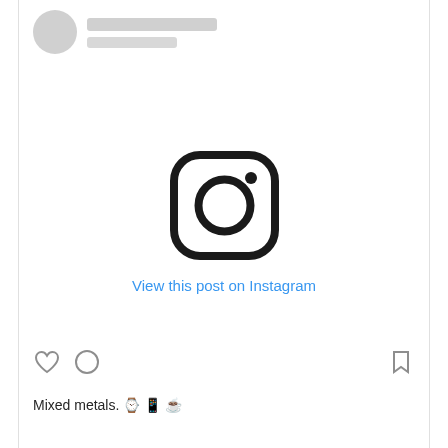[Figure (screenshot): Instagram post placeholder with circular avatar, two placeholder bars for username/handle, Instagram camera logo icon in center, 'View this post on Instagram' link text in blue, action bar icons at bottom (heart, circle, bookmark), and caption text 'Mixed metals. ⌚ 📱 ☕']
View this post on Instagram
Mixed metals. ⌚ 📱 ☕